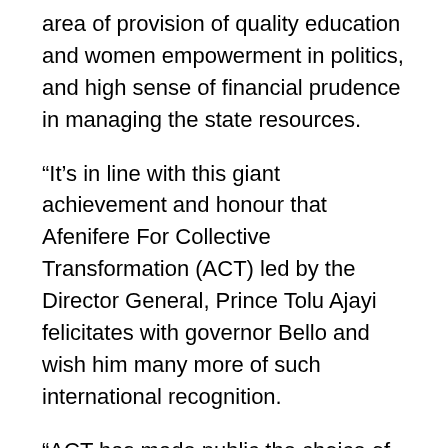area of provision of quality education and women empowerment in politics, and high sense of financial prudence in managing the state resources.
“It’s in line with this giant achievement and honour that Afenifere For Collective Transformation (ACT) led by the Director General, Prince Tolu Ajayi felicitates with governor Bello and wish him many more of such international recognition.
“ACT has made public the choice of governor Bello as our presidential candidate come 2023 which we believe others across the country are now seeing and would follow the same path. We can’t afford to waste 2023 as a nation.
“Congratulations to His Excellency, Governor Yahaya Bello as we believe many more of such are coming in no distance time.”